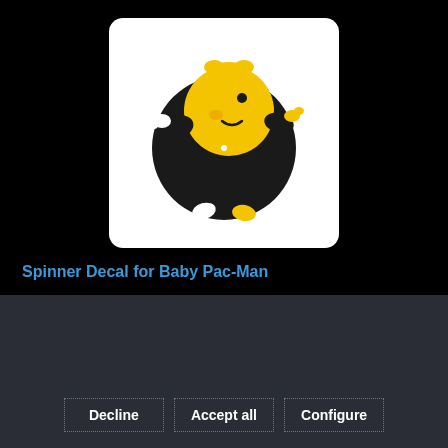[Figure (illustration): Baby Pac-Man product image: a cartoon yellow Pac-Man character with a baby face and black body globe, shown on a white rounded rectangle background against a black background]
Spinner Decal for Baby Pac-Man
This website uses cookies, which are necessary for the technical operation of the website and are always set. Other cookies, which increase the usability of this website, serve for direct advertising or simplify interaction with other websites and social networks, will only be used with your consent.
More information
Decline
Accept all
Configure